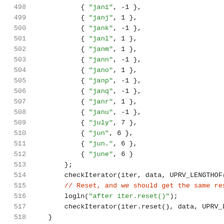[Figure (screenshot): Source code listing showing lines 498-519 of a C/C++ file with data array entries and iterator reset logic]